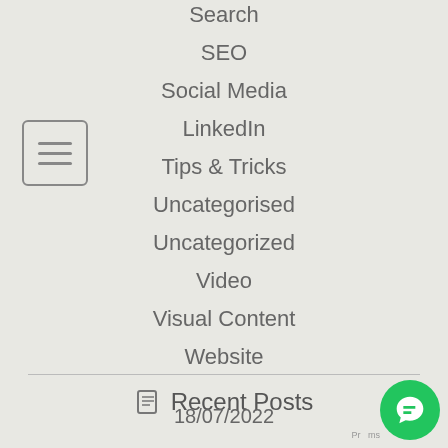[Figure (other): Hamburger menu icon — three horizontal lines inside a rounded square border]
Search
SEO
Social Media
LinkedIn
Tips & Tricks
Uncategorised
Uncategorized
Video
Visual Content
Website
Recent Posts
18/07/2022